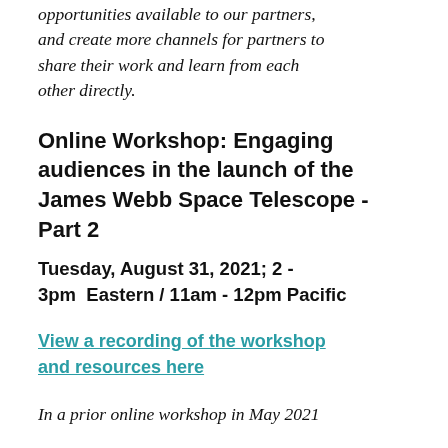opportunities available to our partners, and create more channels for partners to share their work and learn from each other directly.
Online Workshop: Engaging audiences in the launch of the James Webb Space Telescope - Part 2
Tuesday, August 31, 2021; 2 - 3pm  Eastern / 11am - 12pm Pacific
View a recording of the workshop and resources here
In a prior online workshop in May 2021